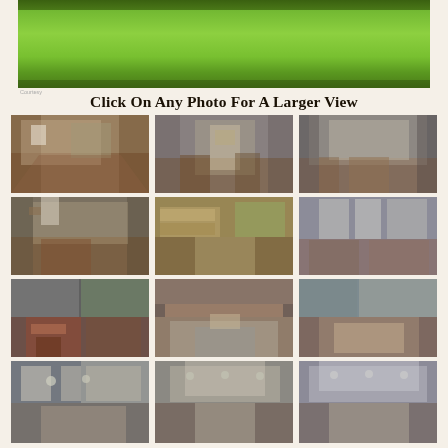[Figure (photo): Aerial or exterior view of property showing green lawn]
Click On Any Photo For A Larger View
[Figure (photo): Interior room view with hardwood floors and dining area]
[Figure (photo): Interior entryway with French doors]
[Figure (photo): Interior hallway/living area view]
[Figure (photo): Dining room with hardwood floors]
[Figure (photo): Home office with built-in cabinetry]
[Figure (photo): Living room with arch entry]
[Figure (photo): Two-story living room]
[Figure (photo): Living room with fireplace]
[Figure (photo): Living room with large windows]
[Figure (photo): Kitchen with island and pendant lights]
[Figure (photo): Kitchen with white cabinets]
[Figure (photo): Kitchen with tray ceiling]